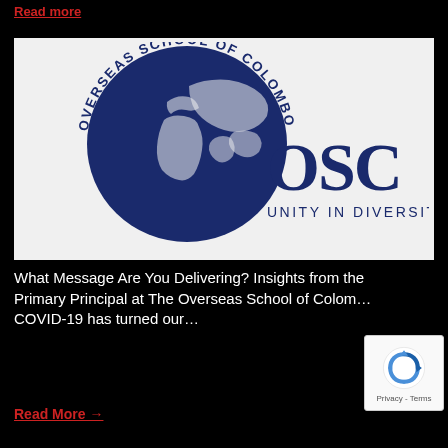Read more
[Figure (logo): Overseas School of Colombo (OSC) logo — a dark navy globe with arced text 'OVERSEAS SCHOOL OF COLOMBO' and large 'OSC' letters with tagline 'UNITY IN DIVERSITY' on a light grey background]
What Message Are You Delivering? Insights from the Primary Principal at The Overseas School of Colom… COVID-19 has turned our…
Read More →